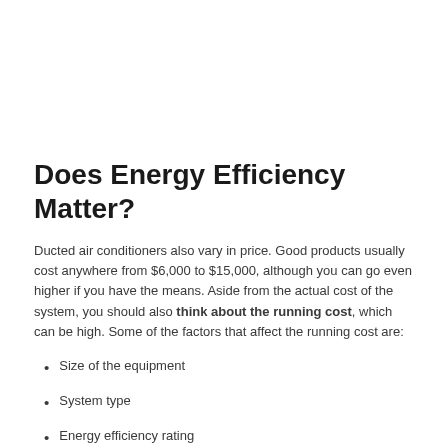Does Energy Efficiency Matter?
Ducted air conditioners also vary in price. Good products usually cost anywhere from $6,000 to $15,000, although you can go even higher if you have the means. Aside from the actual cost of the system, you should also think about the running cost, which can be high. Some of the factors that affect the running cost are:
Size of the equipment
System type
Energy efficiency rating
The floor plan of your home